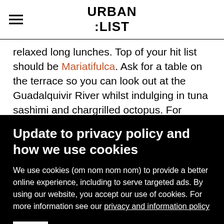URBAN LIST
relaxed long lunches. Top of your hit list should be Mariatifulca. Ask for a table on the terrace so you can look out at the Guadalquivir River whilst indulging in tuna sashimi and chargrilled octopus. For something a little
Update to privacy policy and how we use cookies
We use cookies (om nom nom nom) to provide a better online experience, including to serve targeted ads. By using our website, you accept our use of cookies. For more information see our privacy and information policy
ACCEPT